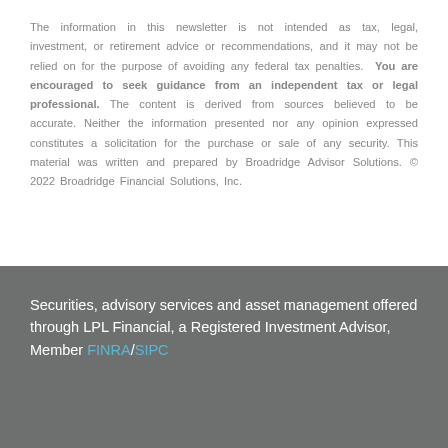The information in this newsletter is not intended as tax, legal, investment, or retirement advice or recommendations, and it may not be relied on for the purpose of avoiding any federal tax penalties. You are encouraged to seek guidance from an independent tax or legal professional. The content is derived from sources believed to be accurate. Neither the information presented nor any opinion expressed constitutes a solicitation for the purchase or sale of any security. This material was written and prepared by Broadridge Advisor Solutions. © 2022 Broadridge Financial Solutions, Inc.
Securities, advisory services and asset management offered through LPL Financial, a Registered Investment Advisor, Member FINRA/SIPC